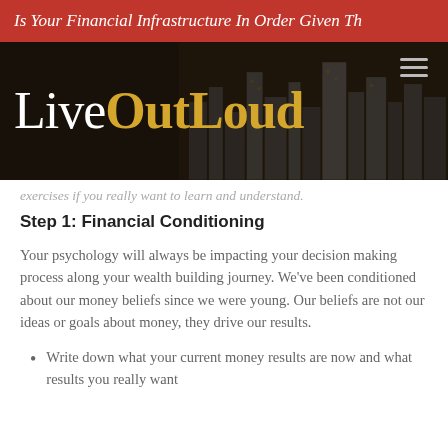Is Your Financial Infrastructure In Order Given Th
[Figure (logo): LiveOutLoud logo on dark background with city skyline silhouette. 'Live' in white, 'Out' in gold bold, 'Loud' in gold bold. Hamburger menu icon top right.]
exercises if you really want to learn and understand.
Step 1: Financial Conditioning
Your psychology will always be impacting your decision making process along your wealth building journey. We've been conditioned about our money beliefs since we were young. Our beliefs are not our ideas or goals about money, they drive our results.
Write down what your current money results are now and what results you really want